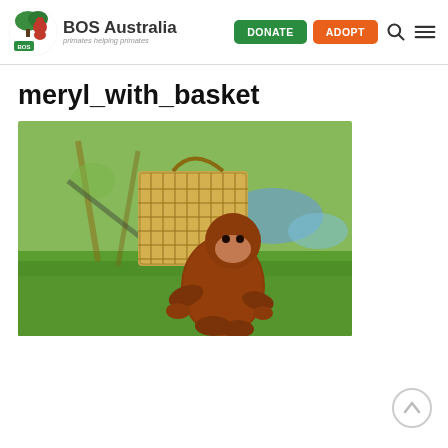BOS Australia — primates helping primates | DONATE | ADOPT
meryl_with_basket
[Figure (photo): Young orangutan sitting on green grass, partially obscuring its head with a wicker/bamboo basket. Background shows green lawn and blurred play equipment.]
[Figure (other): Scroll-to-top circular arrow button in grey outline style.]